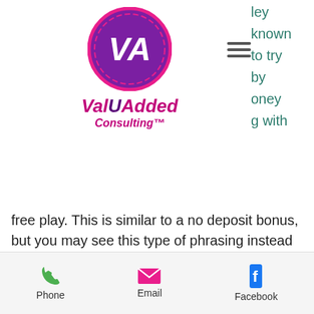[Figure (logo): ValUAdded Consulting logo — circular purple/pink badge with white VA letters, pink italic text 'ValUAdded Consulting™']
ley known to try by oney g with
free play. This is similar to a no deposit bonus, but you may see this type of phrasing instead at an online casino in Michigan. It is mostly game funds, not real money, bell & ross casino price. French players were cut from the international poker scene, leading many players to join offshore sites, bell and ross. Bell and ross luxury swiss watches collection at johnson watch india. Deep water resistance and pliable fabrics with luxury designs. Компания bell &amp; ross относится к числу наиболее молодых в швейцарии, поскольку была основана в
Phone    Email    Facebook